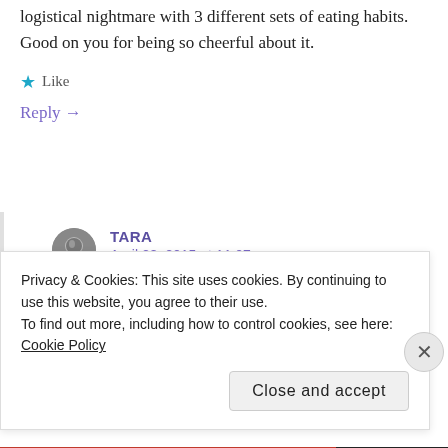logistical nightmare with 3 different sets of eating habits. Good on you for being so cheerful about it.
★ Like
Reply →
TARA
April 28, 2015 at 11:07 am
Good tip, Rose, thank you. It does feel
Privacy & Cookies: This site uses cookies. By continuing to use this website, you agree to their use.
To find out more, including how to control cookies, see here: Cookie Policy
Close and accept